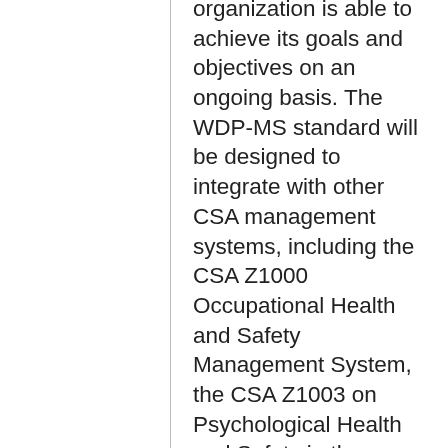organization is able to achieve its goals and objectives on an ongoing basis. The WDP-MS standard will be designed to integrate with other CSA management systems, including the CSA Z1000 Occupational Health and Safety Management System, the CSA Z1003 on Psychological Health and Safety in the Workplace and CSA Z1004 on Workplace Ergonomics. It will also be integratable into ISO standards such as ISO 9001 for quality management system